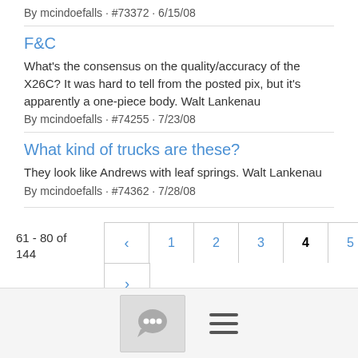By mcindoefalls · #73372 · 6/15/08
F&C
What's the consensus on the quality/accuracy of the X26C? It was hard to tell from the posted pix, but it's apparently a one-piece body. Walt Lankenau
By mcindoefalls · #74255 · 7/23/08
What kind of trucks are these?
They look like Andrews with leaf springs. Walt Lankenau
By mcindoefalls · #74362 · 7/28/08
61 - 80 of 144
[Figure (other): Pagination navigation with prev/next arrows and page numbers 1-8, current page 4 highlighted]
[Figure (other): Footer bar with chat bubble icon button and hamburger menu icon]